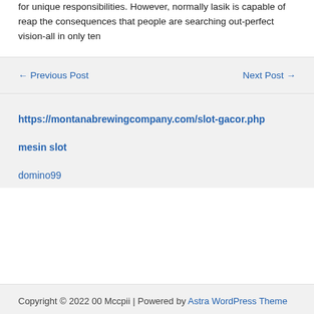for unique responsibilities. However, normally lasik is capable of reap the consequences that people are searching out-perfect vision-all in only ten
← Previous Post
Next Post →
https://montanabrewingcompany.com/slot-gacor.php
mesin slot
domino99
Copyright © 2022 00 Mccpii | Powered by Astra WordPress Theme